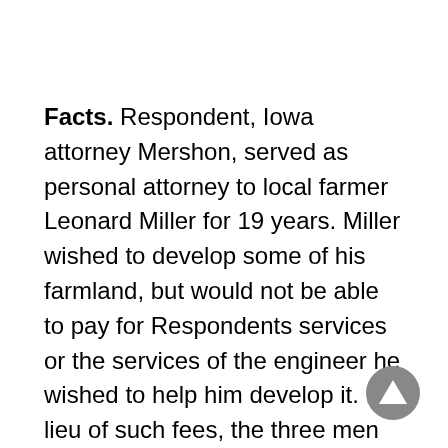Facts. Respondent, Iowa attorney Mershon, served as personal attorney to local farmer Leonard Miller for 19 years. Miller wished to develop some of his farmland, but would not be able to pay for Respondents services or the services of the engineer he wished to help him develop it. In lieu of such fees, the three men agreed to form a corporation in which their services would be provided in exchange for shares in the property. The development deal fell through shortly before Miller's death, however, and Respondent (who was also executor for his estate) was recommended to the board for discipline